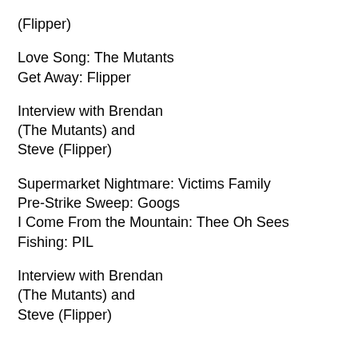(Flipper)
Love Song: The Mutants
Get Away: Flipper
Interview with Brendan (The Mutants) and Steve (Flipper)
Supermarket Nightmare: Victims Family
Pre-Strike Sweep: Googs
I Come From the Mountain: Thee Oh Sees
Fishing: PIL
Interview with Brendan (The Mutants) and Steve (Flipper)